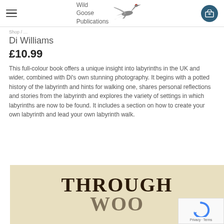Wild Goose Publications
Di Williams
£10.99
This full-colour book offers a unique insight into labyrinths in the UK and wider, combined with Di's own stunning photography. It begins with a potted history of the labyrinth and hints for walking one, shares personal reflections and stories from the labyrinth and explores the variety of settings in which labyrinths are now to be found. It includes a section on how to create your own labyrinth and lead your own labyrinth walk.
[Figure (photo): Book cover showing 'THROUGH WOOD' text on aged parchment background]